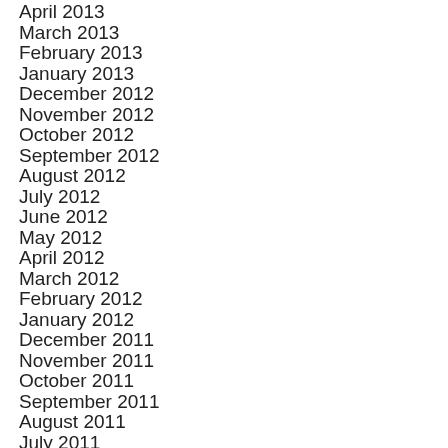April 2013
March 2013
February 2013
January 2013
December 2012
November 2012
October 2012
September 2012
August 2012
July 2012
June 2012
May 2012
April 2012
March 2012
February 2012
January 2012
December 2011
November 2011
October 2011
September 2011
August 2011
July 2011
June 2011